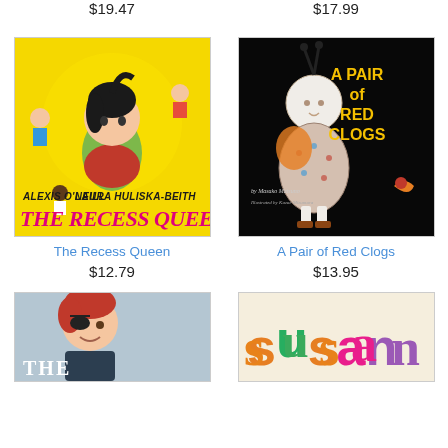The Hard-Times Jar
$19.47
Margaret and Margarita / Margarita y Margaret
$17.99
[Figure (illustration): Book cover of The Recess Queen - colorful yellow cover with children playing, title in pink italic text]
The Recess Queen
$12.79
[Figure (illustration): Book cover of A Pair of Red Clogs - dark black cover with Japanese doll figure and yellow title text]
A Pair of Red Clogs
$13.95
[Figure (illustration): Partial book cover showing a pirate child with red hair and eye patch, blue-gray background, partial title THE visible]
[Figure (illustration): Partial book cover showing colorful handwritten-style text spelling 'susan' in orange and pink letters]